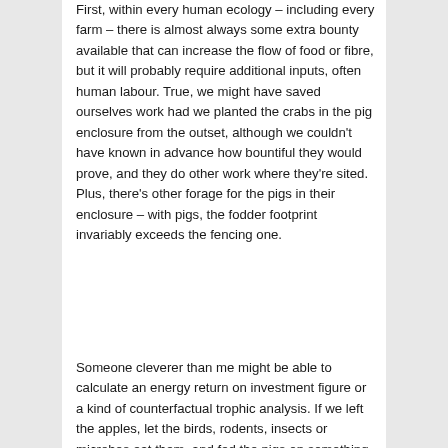First, within every human ecology – including every farm – there is almost always some extra bounty available that can increase the flow of food or fibre, but it will probably require additional inputs, often human labour. True, we might have saved ourselves work had we planted the crabs in the pig enclosure from the outset, although we couldn't have known in advance how bountiful they would prove, and they do other work where they're sited. Plus, there's other forage for the pigs in their enclosure – with pigs, the fodder footprint invariably exceeds the fencing one.
Someone cleverer than me might be able to calculate an energy return on investment figure or a kind of counterfactual trophic analysis. If we left the apples, let the birds, rodents, insects or microbes eat them, and fed the pigs on something else, how might the balance of labour input and food output on the farm look then? In the absence of such data, I'd suggest that given the excrement from the pigs who eat the apples and from the people who eat the pigs stays on the farm, and given the improvement in the mental and physical health of the